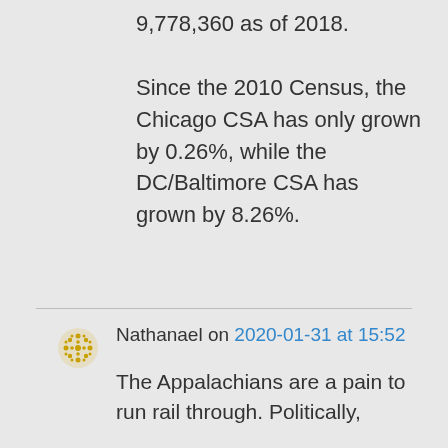9,778,360 as of 2018. Since the 2010 Census, the Chicago CSA has only grown by 0.26%, while the DC/Baltimore CSA has grown by 8.26%.
Nathanael on 2020-01-31 at 15:52
The Appalachians are a pain to run rail through. Politically,